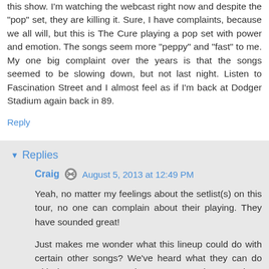this show. I'm watching the webcast right now and despite the "pop" set, they are killing it. Sure, I have complaints, because we all will, but this is The Cure playing a pop set with power and emotion. The songs seem more "peppy" and "fast" to me. My one big complaint over the years is that the songs seemed to be slowing down, but not last night. Listen to Fascination Street and I almost feel as if I'm back at Dodger Stadium again back in 89.
Reply
Replies
Craig  August 5, 2013 at 12:49 PM
Yeah, no matter my feelings about the setlist(s) on this tour, no one can complain about their playing. They have sounded great!

Just makes me wonder what this lineup could do with certain other songs? We've heard what they can do with the pop set, now I hope we get a chance to hear them tackle a much darker set. Have a feeling it would be tremendous!